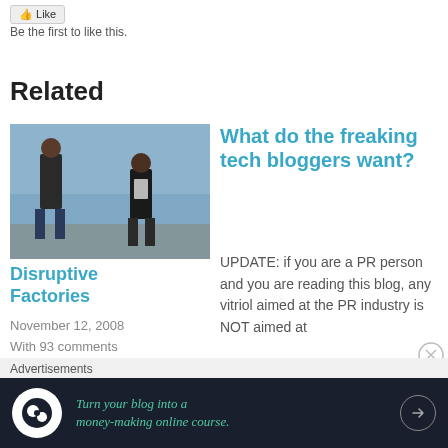[Figure (screenshot): Like button UI element]
Be the first to like this.
Related
[Figure (photo): Two men standing outdoors with blue sky background]
Disruptive Factories
November 12, 2008
With 93 comments
What do the freaking tech bloggers want?
UPDATE: if you are a PR person and you are reading this blog, any vitriol aimed at the PR industry is NOT aimed at
August 13, 2008
Advertisements
[Figure (screenshot): Advertisement banner: Turn your blog into a money-making online course.]